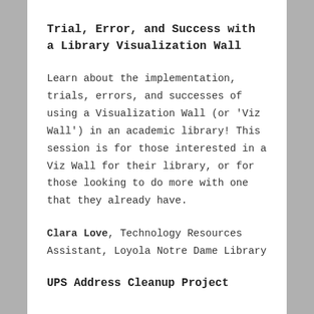Trial, Error, and Success with a Library Visualization Wall
Learn about the implementation, trials, errors, and successes of using a Visualization Wall (or 'Viz Wall') in an academic library! This session is for those interested in a Viz Wall for their library, or for those looking to do more with one that they already have.
Clara Love, Technology Resources Assistant, Loyola Notre Dame Library
UPS Address Cleanup Project